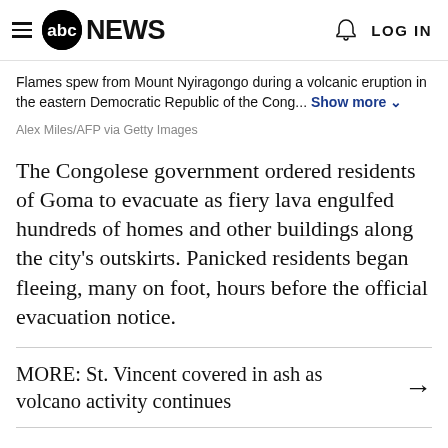abc NEWS  LOG IN
Flames spew from Mount Nyiragongo during a volcanic eruption in the eastern Democratic Republic of the Cong... Show more
Alex Miles/AFP via Getty Images
The Congolese government ordered residents of Goma to evacuate as fiery lava engulfed hundreds of homes and other buildings along the city's outskirts. Panicked residents began fleeing, many on foot, hours before the official evacuation notice.
MORE: St. Vincent covered in ash as volcano activity continues →